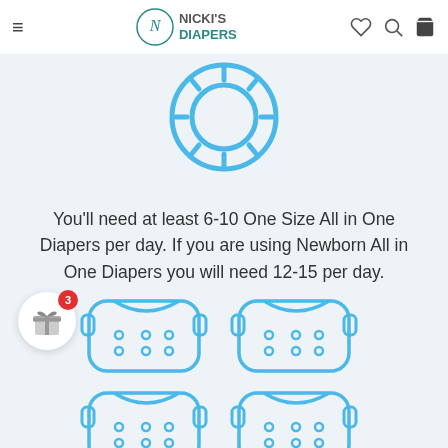Nicki's Diapers — navigation header
[Figure (illustration): Blue outline sun icon (circle with rays) centered on light blue background]
You'll need at least 6-10 One Size All in One Diapers per day. If you are using Newborn All in One Diapers you will need 12-15 per day.
[Figure (illustration): Four blue outline cloth diaper icons arranged in a 2x2 grid]
[Figure (illustration): Gift icon with red notification badge showing number 3]